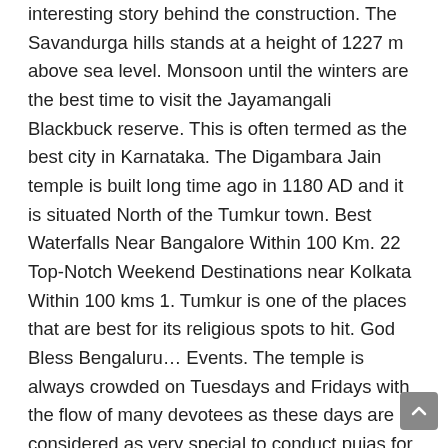interesting story behind the construction. The Savandurga hills stands at a height of 1227 m above sea level. Monsoon until the winters are the best time to visit the Jayamangali Blackbuck reserve. This is often termed as the best city in Karnataka. The Digambara Jain temple is built long time ago in 1180 AD and it is situated North of the Tumkur town. Best Waterfalls Near Bangalore Within 100 Km. 22 Top-Notch Weekend Destinations near Kolkata Within 100 kms 1. Tumkur is one of the places that are best for its religious spots to hit. God Bless Bengaluru… Events. The temple is always crowded on Tuesdays and Fridays with the flow of many devotees as these days are considered as very special to conduct pujas for Goddess Mahalakshmi and ... A dam built on the river Shimsa called as Markonahalli Reservoir is famous for its engineering feat and the scenic views surrounding it. Jaw-dropping travel deals now LIVE with upto 1 Year Validity on all trips! Discover tourist places to visit near Mysore within 100 kms. At a distance of 61km from the city, Malikadurga is a hill fort situated at an altitude of 1350m above the sea level. Tumkur is a hill...